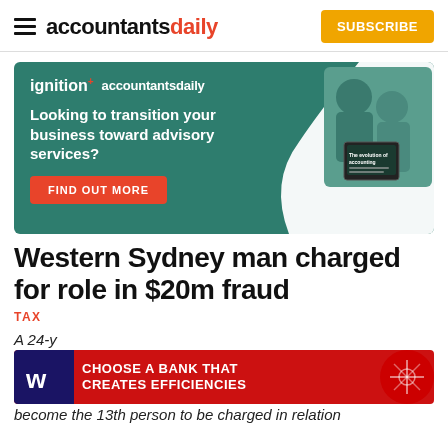accountants daily — SUBSCRIBE
[Figure (infographic): Advertisement banner for ignition × accountantsdaily: 'Looking to transition your business toward advisory services?' with FIND OUT MORE button and image of two people working with a tablet showing 'The evolution of accounting']
Western Sydney man charged for role in $20m fraud
TAX
A 24-y... become the 13th person to be charged in relation
[Figure (infographic): Westpac advertisement: CHOOSE A BANK THAT CREATES EFFICIENCIES]